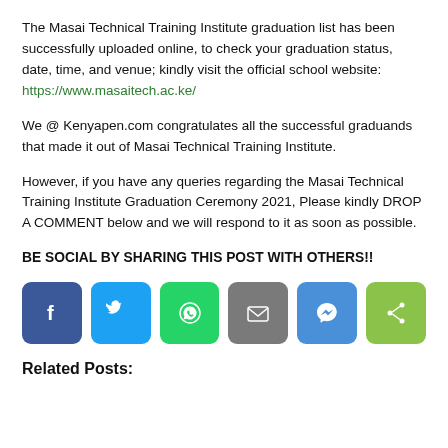The Masai Technical Training Institute graduation list has been successfully uploaded online, to check your graduation status, date, time, and venue; kindly visit the official school website:  https://www.masaitech.ac.ke/
We @ Kenyapen.com congratulates all the successful graduands that made it out of Masai Technical Training Institute.
However, if you have any queries regarding the Masai Technical Training Institute Graduation Ceremony 2021, Please kindly DROP A COMMENT below and we will respond to it as soon as possible.
BE SOCIAL BY SHARING THIS POST WITH OTHERS!!
[Figure (infographic): Row of six social sharing buttons: Facebook (blue), Twitter (light blue), WhatsApp (green), Email (gray), Messenger (blue), Share (green)]
Related Posts: